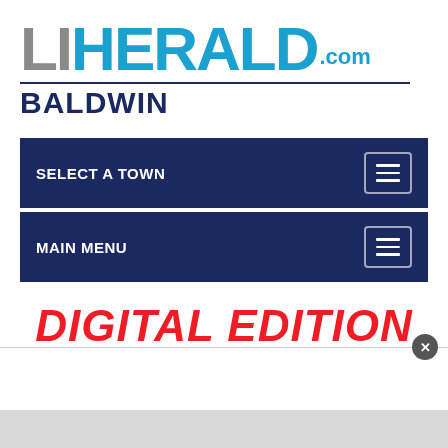[Figure (logo): LI Herald.com Baldwin newspaper logo — 'LI' in gray, 'HERALD' in blue, '.com' in blue, 'BALDWIN' in dark navy below a divider line]
SELECT A TOWN
MAIN MENU
DIGITAL EDITION